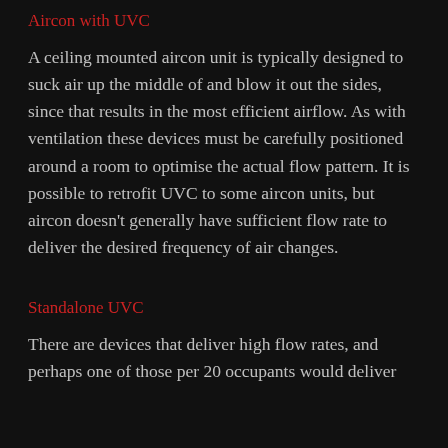Aircon with UVC
A ceiling mounted aircon unit is typically designed to suck air up the middle of and blow it out the sides, since that results in the most efficient airflow. As with ventilation these devices must be carefully positioned around a room to optimise the actual flow pattern. It is possible to retrofit UVC to some aircon units, but aircon doesn’t generally have sufficient flow rate to deliver the desired frequency of air changes.
Standalone UVC
There are devices that deliver high flow rates, and perhaps one of those per 20 occupants would deliver